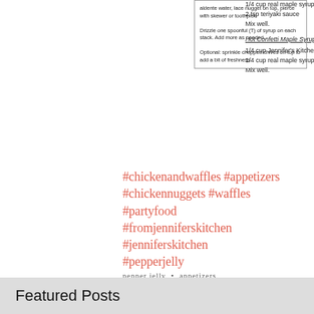1/4 cup real maple syrup
2 tsp teriyaki sauce
Mix well.
Hot Confetti Maple Syrup
1/4 cup Jennifer's Kitchen Hot Confetti Pepper Jelly, melted
1/4 cup real maple syrup
Mix well.
aldente water, lace nugget or top, pierce with skewer or toothpick.
Drizzle one spoonful (T) of syrup on each stack. Add more as needed.
Optional: sprinkle chopped chives on top to add a bit of freshness.
#chickenandwaffles #appetizers #chickennuggets #waffles #partyfood #fromjenniferskitchen #jenniferskitchen #pepperjelly
pepper jelly  •  appetizers
[Figure (other): Social share icons: Facebook, Twitter, LinkedIn]
[Figure (other): Heart/like icon (outline, salmon color)]
Featured Posts